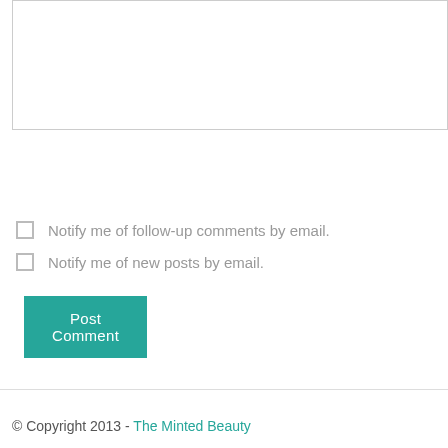[Figure (screenshot): A textarea input box (empty), partially visible at the top of the page]
Post Comment
Notify me of follow-up comments by email.
Notify me of new posts by email.
← Previous Post
© Copyright 2013 - The Minted Beauty